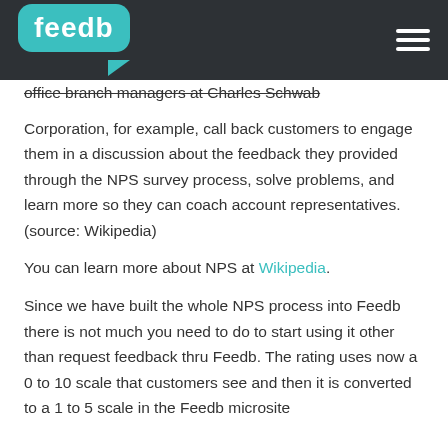[Figure (logo): Feedb logo in teal/green rounded rectangle with white text, on dark header bar with hamburger menu icon]
office branch managers at Charles Schwab Corporation, for example, call back customers to engage them in a discussion about the feedback they provided through the NPS survey process, solve problems, and learn more so they can coach account representatives. (source: Wikipedia)
You can learn more about NPS at Wikipedia.
Since we have built the whole NPS process into Feedb there is not much you need to do to start using it other than request feedback thru Feedb. The rating uses now a 0 to 10 scale that customers see and then it is converted to a 1 to 5 scale in the Feedb microsite and is converted to...